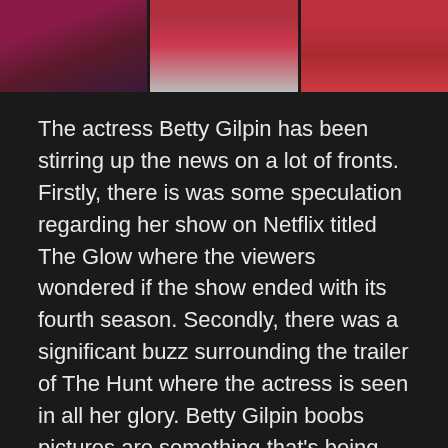[Figure (photo): Three cropped photos of women in red/pink outfits arranged side by side in a strip at the top of the page]
The actress Betty Gilpin has been stirring up the news on a lot of fronts. Firstly, there is was some speculation regarding her show on Netflix titled The Glow where the viewers wondered if the show ended with its fourth season. Secondly, there was a significant buzz surrounding the trailer of The Hunt where the actress is seen in all her glory. Betty Gilpin boobs pictures are something that's being searched a lot and we have the full collection of it below.
Betty Gilpin is one of the finest American actresses